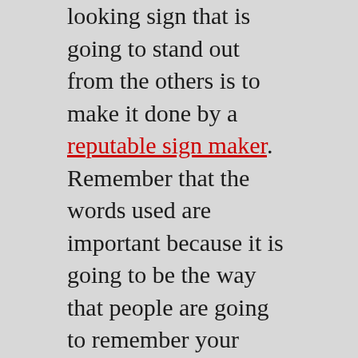looking sign that is going to stand out from the others is to make it done by a reputable sign maker. Remember that the words used are important because it is going to be the way that people are going to remember your business and the things that you are selling.
The key to finding a great outdoor business sign is to find out what people like and what they don't like. So when you are searching for a sign, you will be able to choose between the signs that are unique and impressive.
With these tips, you will be able to find a creative and effective outdoor business sign that you will be able to use. You can even make one of your own.